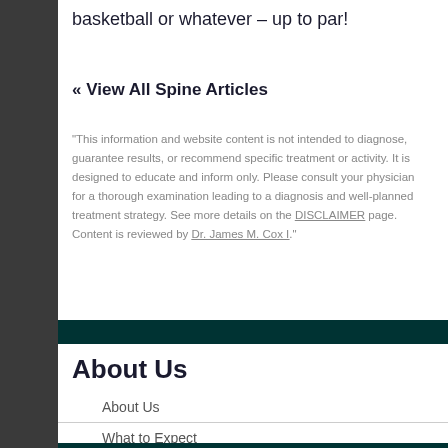basketball or whatever – up to par!
« View All Spine Articles
"This information and website content is not intended to diagnose, guarantee results, or recommend specific treatment or activity. It is designed to educate and inform only. Please consult your physician for a thorough examination leading to a diagnosis and well-planned treatment strategy. See more details on the DISCLAIMER page. Content is reviewed by Dr. James M. Cox I."
About Us
About Us
What to Expect
Doctors
Office Hours
[Figure (other): Contact Us banner image with blue and gold gradient background]